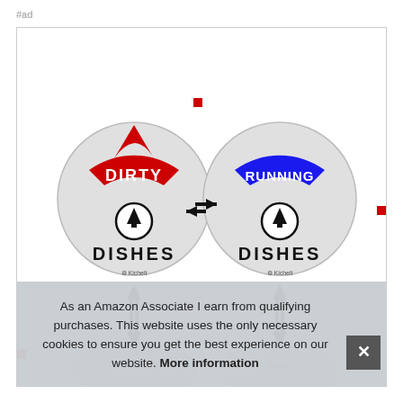#ad
[Figure (illustration): Two circular dishwasher magnet signs side by side. Left sign shows red arc labeled DIRTY with an upward arrow and text DISHES and Kichelt logo. Right sign shows blue arc labeled RUNNING with an upward arrow and text DISHES and Kichelt logo. Between them is a double-headed horizontal arrow. Below each magnet is a double vertical arrow. Both magnets are partially shown at the bottom.]
As an Amazon Associate I earn from qualifying purchases. This website uses the only necessary cookies to ensure you get the best experience on our website. More information